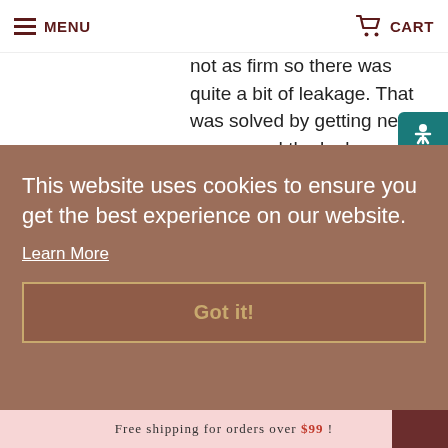MENU | CART
not as firm so there was quite a bit of leakage. That was solved by getting new covers and the leakage disappeared! There was also the problem of body shape which is something I never had to worry about with my two older girls. The diapers just were so bulky on him and it felt wrong. I went ahead and got my Size Two Thirsties Covers and
This website uses cookies to ensure you get the best experience on our website. Learn More
Got it!
FREE SHIPPING FOR ORDERS OVER $99 !